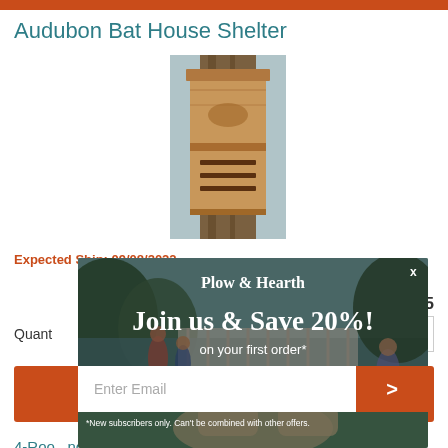Audubon Bat House Shelter
[Figure (photo): Wooden bat house shelter mounted on a tree trunk]
Expected Ship: 09/08/2022
$49.95
Quantity
[Figure (screenshot): Plow & Hearth popup modal with 'Join us & Save 20%!' offer on first order, email signup field, and outdoor patio background image. X close button in top right. Footnote: *New subscribers only. Can't be combined with other offers.]
4-Roo...nd Starli...